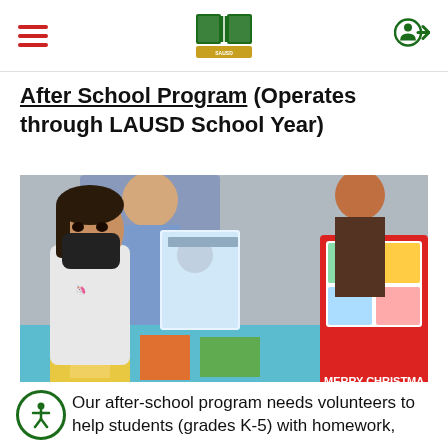Santa Ana Unified School District logo with hamburger menu and login icon
After School Program (Operates through LAUSD School Year)
[Figure (photo): A young girl wearing a black face mask and a unicorn sweatshirt looks at a book at an outdoor table. A red 'Merry Christmas' display is visible on the right. Other people are visible in the background.]
Our after-school program needs volunteers to help students (grades K-5) with homework,